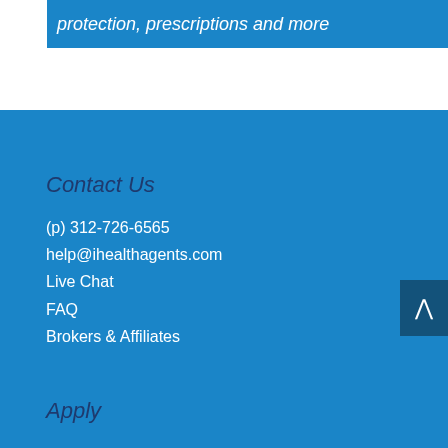protection, prescriptions and more
Contact Us
(p) 312-726-6565
help@ihealthagents.com
Live Chat
FAQ
Brokers & Affiliates
Apply